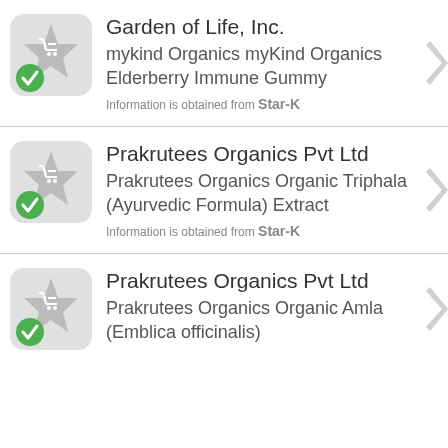Garden of Life, Inc. — mykind Organics myKind Organics Elderberry Immune Gummy — Information is obtained from Star-K
Prakrutees Organics Pvt Ltd — Prakrutees Organics Organic Triphala (Ayurvedic Formula) Extract — Information is obtained from Star-K
Prakrutees Organics Pvt Ltd — Prakrutees Organics Organic Amla (Emblica officinalis)